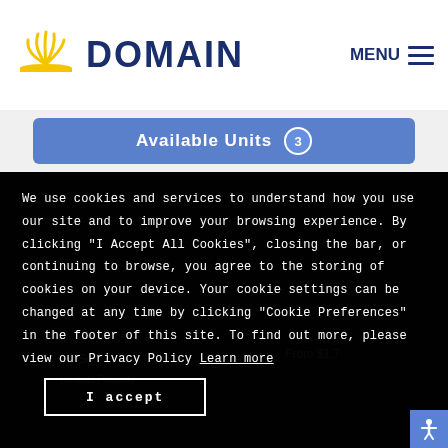DOMAIN
Available Units 3
We use cookies and services to understand how you use our site and to improve your browsing experience. By clicking "I Accept All Cookies", closing the bar, or continuing to browse, you agree to the storing of cookies on your device. Your cookie settings can be changed at any time by clicking "Cookie Preferences" in the footer of this site. To find out more, please view our Privacy Policy Learn more
I accept